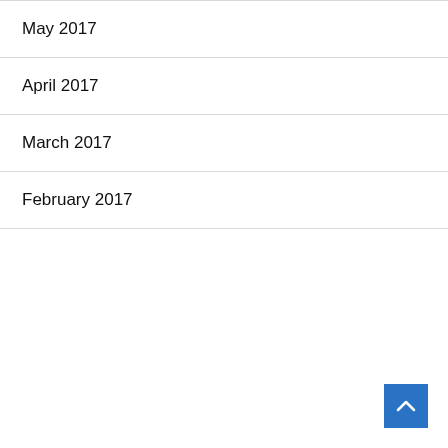May 2017
April 2017
March 2017
February 2017
[Figure (other): Blue square button with white upward-pointing chevron arrow (back to top button)]